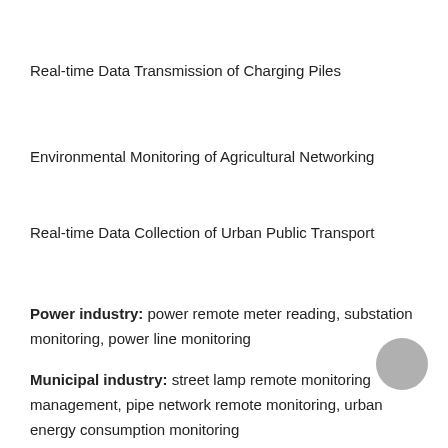Real-time Data Transmission of Charging Piles
Environmental Monitoring of Agricultural Networking
Real-time Data Collection of Urban Public Transport
Power industry: power remote meter reading, substation monitoring, power line monitoring
Municipal industry: street lamp remote monitoring management, pipe network remote monitoring, urban energy consumption monitoring